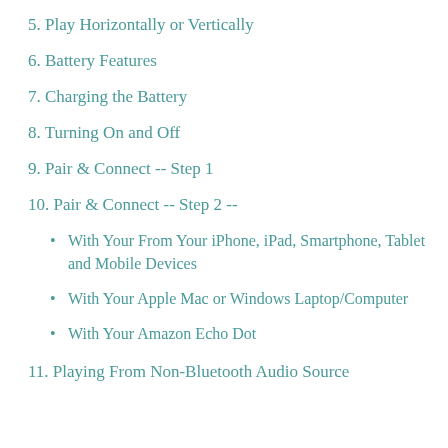5. Play Horizontally or Vertically
6. Battery Features
7. Charging the Battery
8. Turning On and Off
9. Pair & Connect -- Step 1
10. Pair & Connect -- Step 2 --
• With Your From Your iPhone, iPad, Smartphone, Tablet and Mobile Devices
• With Your Apple Mac or Windows Laptop/Computer
• With Your Amazon Echo Dot
11. Playing From Non-Bluetooth Audio Source